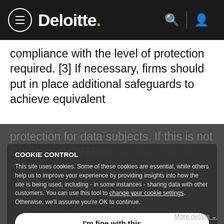Deloitte.
compliance with the level of protection required. [3] If necessary, firms should put in place additional safeguards to achieve equivalent protection for data subjects. If this is not [compliant], personal data transfers should not take place, or should be immediately suspended.
COOKIE CONTROL
This site uses cookies. Some of these cookies are essential, while others help us to improve your experience by providing insights into how the site is being used, including - in some instances - sharing data with other customers. You can use this tool to change your cookie settings. Otherwise, we'll assume you're OK to continue.
I'm fine with this
Protection Board (EDPB) issued additional guidance to help data exporters assess data transfers to third countries. The EU Commission also consulted on an updated set of draft SCCs to reinforce the protection of data subjects. The updated SCCs include safeguards to address the
More details ∨